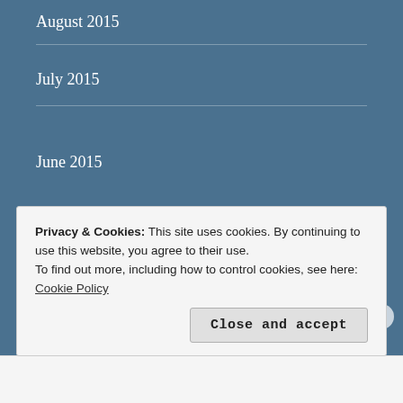August 2015
July 2015
June 2015
CATEGORIES
anxiety
Asperger's Syndrome
depression
Privacy & Cookies: This site uses cookies. By continuing to use this website, you agree to their use.
To find out more, including how to control cookies, see here: Cookie Policy
Close and accept